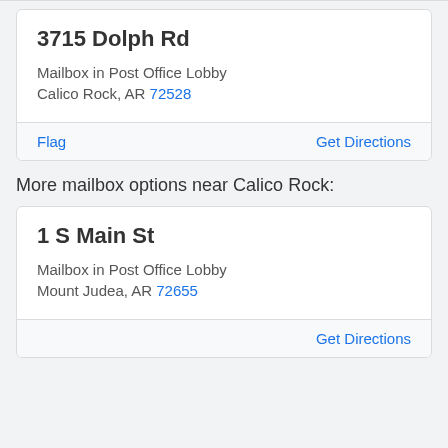3715 Dolph Rd
Mailbox in Post Office Lobby
Calico Rock, AR 72528
Flag | Get Directions
More mailbox options near Calico Rock:
1 S Main St
Mailbox in Post Office Lobby
Mount Judea, AR 72655
Get Directions